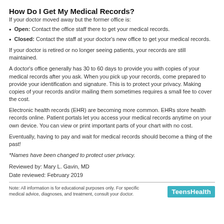How Do I Get My Medical Records?
If your doctor moved away but the former office is:
Open: Contact the office staff there to get your medical records.
Closed: Contact the staff at your doctor's new office to get your medical records.
If your doctor is retired or no longer seeing patients, your records are still maintained.
A doctor's office generally has 30 to 60 days to provide you with copies of your medical records after you ask. When you pick up your records, come prepared to provide your identification and signature. This is to protect your privacy. Making copies of your records and/or mailing them sometimes requires a small fee to cover the cost.
Electronic health records (EHR) are becoming more common. EHRs store health records online. Patient portals let you access your medical records anytime on your own device. You can view or print important parts of your chart with no cost.
Eventually, having to pay and wait for medical records should become a thing of the past!
*Names have been changed to protect user privacy.
Reviewed by: Mary L. Gavin, MD
Date reviewed: February 2019
Note: All information is for educational purposes only. For specific medical advice, diagnoses, and treatment, consult your doctor.